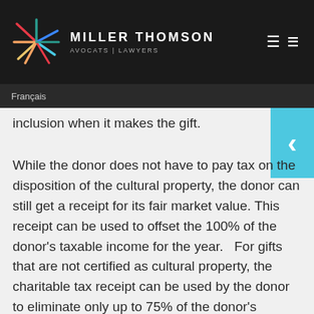MILLER THOMSON AVOCATS | LAWYERS
Français
inclusion when it makes the gift.
While the donor does not have to pay tax on the disposition of the cultural property, the donor can still get a receipt for its fair market value. This receipt can be used to offset the 100% of the donor's taxable income for the year.   For gifts that are not certified as cultural property, the charitable tax receipt can be used by the donor to eliminate only up to 75% of the donor's income for the year. For all gifts, any unused portion of a charitable tax receipt can be carried forward to apply against the donor's income for five